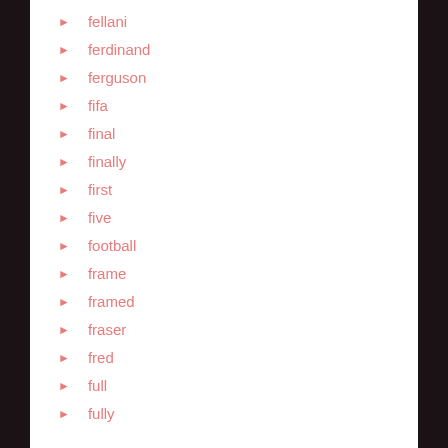fellani
ferdinand
ferguson
fifa
final
finally
first
five
football
frame
framed
fraser
fred
full
fully